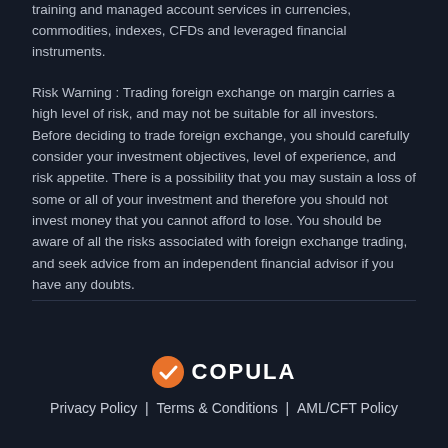training and managed account services in currencies, commodities, indexes, CFDs and leveraged financial instruments.
Risk Warning : Trading foreign exchange on margin carries a high level of risk, and may not be suitable for all investors. Before deciding to trade foreign exchange, you should carefully consider your investment objectives, level of experience, and risk appetite. There is a possibility that you may sustain a loss of some or all of your investment and therefore you should not invest money that you cannot afford to lose. You should be aware of all the risks associated with foreign exchange trading, and seek advice from an independent financial advisor if you have any doubts.
[Figure (logo): Copula logo: orange circle with white checkmark, followed by COPULA text in white bold capital letters]
Privacy Policy | Terms & Conditions | AML/CFT Policy